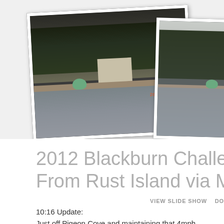[Figure (photo): Two overlapping photographs of a waterway scene near Pigeon Cove, each dated 2012/07/14. Left photo shows a dark shoreline with a green buoy, white building, trees. Right photo shows a similar water scene with trees and shore.]
2012 Blackburn Challenge From Rust Island via M
VIEW SLIDE SHOW   DOWNLOAD ALL
10:16 Update:
Just off Pigeon Cove and maintaining that 4mph